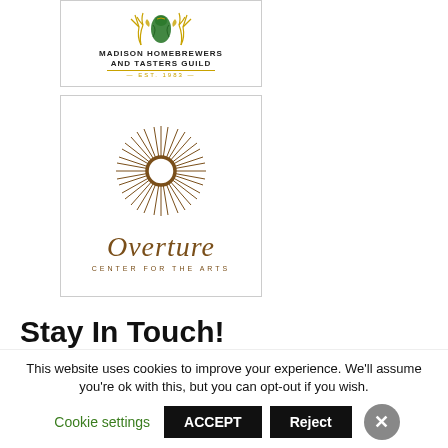[Figure (logo): Madison Homebrewers and Tasters Guild logo with hop illustration and wheat, EST. 1983]
[Figure (logo): Overture Center for the Arts logo with sunburst design and stylized 'O', italic Overture text in brown]
Stay In Touch!
Get news from WORT-FM in your inbox every week
This website uses cookies to improve your experience. We'll assume you're ok with this, but you can opt-out if you wish.
Cookie settings  ACCEPT  Reject